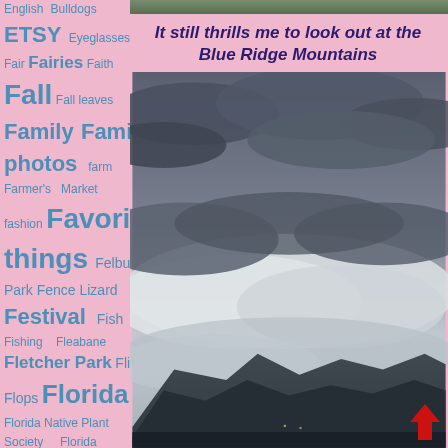English Bulldogs ETSY Eyeglasses Fair Fairies Faith Fall Fall leaves Family Family photos farm Farmer's Market fashion Favorite things Felburn Park Fence Lizard Festival Fish Fishing Fleabane Fletcher Park Flip Flops Florida Florida Native Plant Society Florida Paintbrush Florida Scrub Jay Florida Scrub-Jay Florida Tasselflower Florida Trails Florida Woodrat Florida's Nature
[Figure (photo): Photograph of Blue Ridge Mountains with cloudy sky, mountains visible at the bottom through cloud cover, taken from an elevated viewpoint. Grayscale tones.]
It still thrills me to look out at the Blue Ridge Mountains